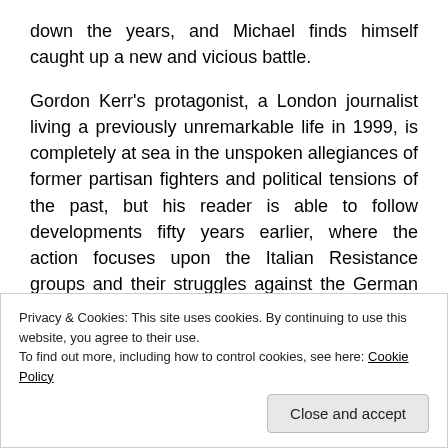down the years, and Michael finds himself caught up a new and vicious battle.
Gordon Kerr's protagonist, a London journalist living a previously unremarkable life in 1999, is completely at sea in the unspoken allegiances of former partisan fighters and political tensions of the past, but his reader is able to follow developments fifty years earlier, where the action focuses upon the Italian Resistance groups and their struggles against the German invaders in the Italian Alps. Eighteen year old Sandro Bellini witnesses horrific brutality on both sides, and plays a key role in
Privacy & Cookies: This site uses cookies. By continuing to use this website, you agree to their use.
To find out more, including how to control cookies, see here: Cookie Policy